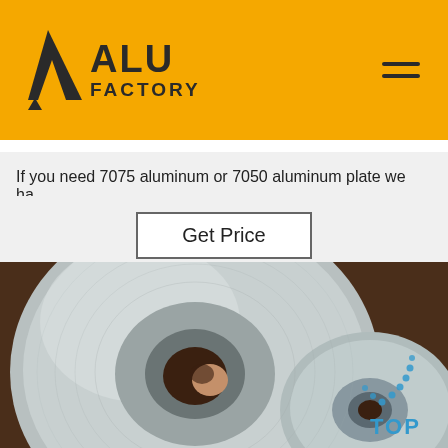ALU FACTORY
If you need 7075 aluminum or 7050 aluminum plate we ha…
Get Price
[Figure (photo): Two aluminum coil rolls photographed from above on a dark wooden surface, showing shiny metallic spiral wound strips with hollow center cores. A hand is partially visible inserting into the core of the larger roll. A blue dotted arc 'TOP' watermark appears in the lower right corner.]